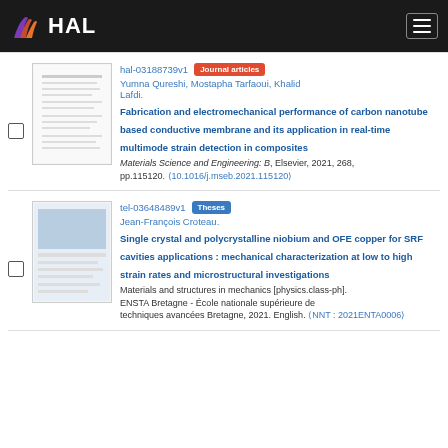HAL
hal-03188739v1 Journal articles
Yumna Qureshi, Mostapha Tarfaoui, Khalid Lafdi. Fabrication and electromechanical performance of carbon nanotube based conductive membrane and its application in real-time multimode strain detection in composites
Materials Science and Engineering: B, Elsevier, 2021, 268, pp.115120. (10.1016/j.mseb.2021.115120)
tel-03648489v1 Theses
Jean-François Croteau. Single crystal and polycrystalline niobium and OFE copper for SRF cavities applications : mechanical characterization at low to high strain rates and microstructural investigations
Materials and structures in mechanics [physics.class-ph]. ENSTA Bretagne - École nationale supérieure de techniques avancées Bretagne, 2021. English. (NNT : 2021ENTA0006)